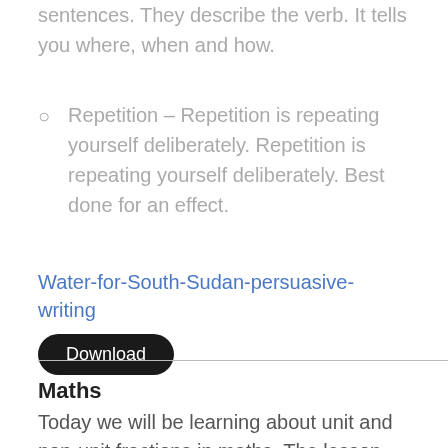sentences. They describe the verb. It tells you where, when and how.
Repetition – Repetition is repeating yourself deliberately. Repetition is repeating yourself deliberately. Best done for an effect.
Water-for-South-Sudan-persuasive-writing  Download
Maths
Today we will be learning about unit and non-unit fractions in maths. The lesson can be found her...